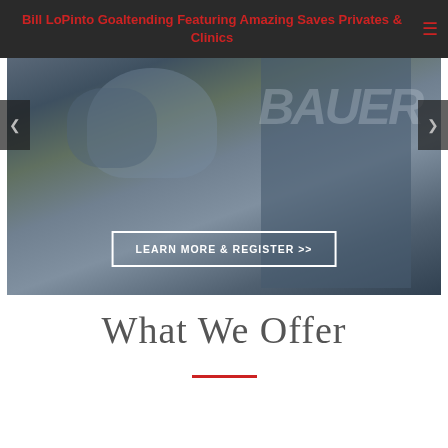Bill LoPinto Goaltending Featuring Amazing Saves Privates & Clinics
[Figure (photo): Hockey goalie equipment photo showing Bauer gear and helmet with cage, with a 'LEARN MORE & REGISTER >>' button overlay]
What We Offer